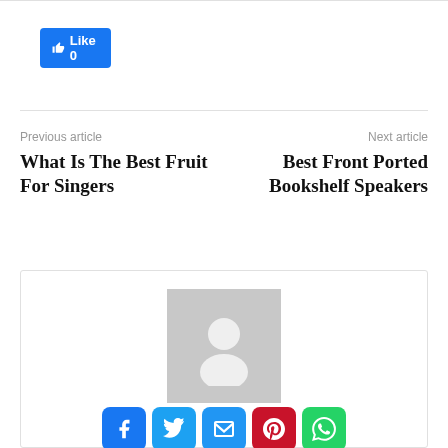[Figure (other): Facebook Like button showing count 0]
Previous article
Next article
What Is The Best Fruit For Singers
Best Front Ported Bookshelf Speakers
[Figure (illustration): Author profile box with placeholder avatar, social media share icons (Facebook, Twitter, Email, Pinterest, WhatsApp, share plus), author name Lewis Johnson, and URL https://ericsardinas.com]